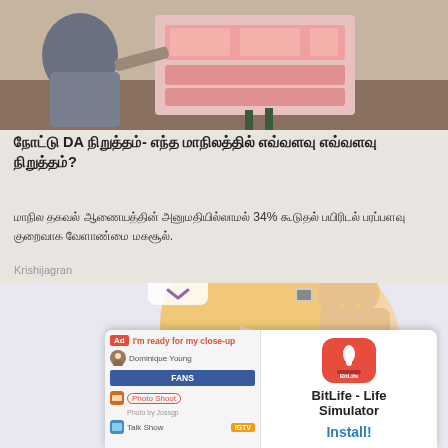[Figure (photo): Photo of a person holding Indian currency notes near a billboard/sign outdoors]
நோட்டு DA நிறுத்தம்- எந்த மாநிலத்தில் எவ்வளவு எவ்வளவு நிறுத்தம்?
மாநில தகவல் ஆணையத்தின் அனுமதியில்லாமல் 34% கூடுதல் பயிரிடல் பரப்பளவு குறைவாக வேளாண்மை மகசூல்.
Krishijagran
[Figure (illustration): Illustration of a baby/child head with hands near it, with a mobile app advertisement overlay showing BitLife - Life Simulator app with Install button]